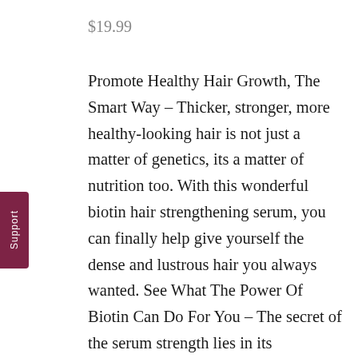$19.99
Promote Healthy Hair Growth, The Smart Way – Thicker, stronger, more healthy-looking hair is not just a matter of genetics, its a matter of nutrition too. With this wonderful biotin hair strengthening serum, you can finally help give yourself the dense and lustrous hair you always wanted. See What The Power Of Biotin Can Do For You – The secret of the serum strength lies in its proprietary formula. By combining biotin, D Panthenol (Pro-Vitamin B5), Pisum Sativum Pea Sprout Extract, and